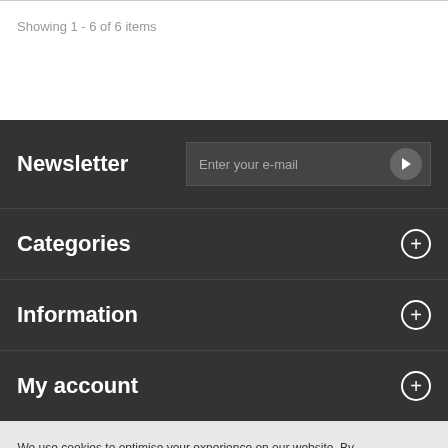Showing 1 - 6 of 6 items
Newsletter
Categories
Information
My account
We use cookies to optimise your experience on our website. By continuing to browse the site you are agreeing with the use of cookies.